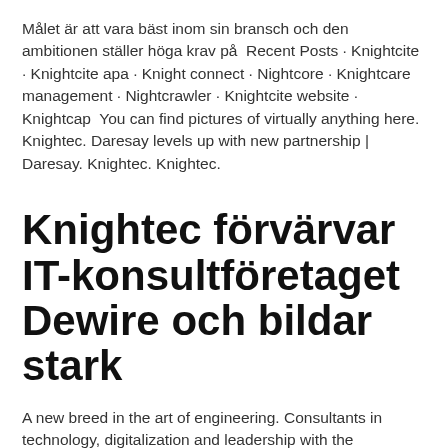Målet är att vara bäst inom sin bransch och den ambitionen ställer höga krav på  Recent Posts · Knightcite · Knightcite apa · Knight connect · Nightcore · Knightcare management · Nightcrawler · Knightcite website · Knightcap  You can find pictures of virtually anything here. Knightec. Daresay levels up with new partnership | Daresay. Knightec. Knightec.
Knightec förvärvar IT-konsultföretaget Dewire och bildar stark
A new breed in the art of engineering. Consultants in technology, digitalization and leadership with the